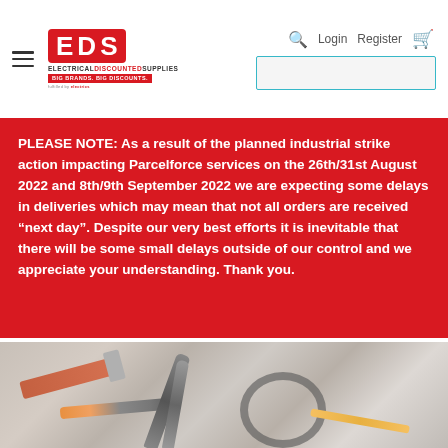[Figure (logo): EDS Electrical Discounted Supplies logo with red badge, tagline 'BIG BRANDS. BIG DISCOUNTS.', navigation hamburger menu, search icon, Login, Register links, shopping cart icon, and search input box]
PLEASE NOTE: As a result of the planned industrial strike action impacting Parcelforce services on the 26th/31st August 2022 and 8th/9th September 2022 we are expecting some delays in deliveries which may mean that not all orders are received “next day”. Despite our very best efforts it is inevitable that there will be some small delays outside of our control and we appreciate your understanding. Thank you.
[Figure (photo): Photo of electrical tools including a hammer, pliers, screwdrivers, cables and wires on a white/light background]